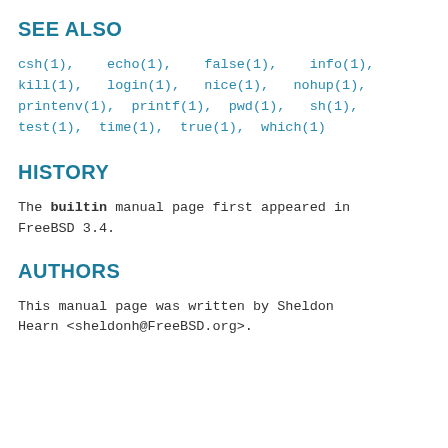SEE ALSO
csh(1),   echo(1),   false(1),   info(1), kill(1),  login(1),  nice(1),  nohup(1), printenv(1), printf(1), pwd(1), sh(1), test(1), time(1), true(1), which(1)
HISTORY
The builtin manual page first appeared in FreeBSD 3.4.
AUTHORS
This manual page was written by Sheldon Hearn <sheldonh@FreeBSD.org>.